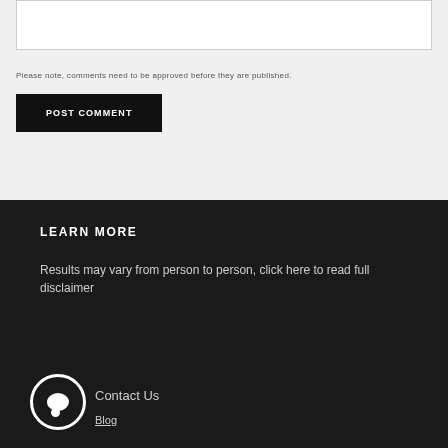Please note, comments need to be approved before they are published.
POST COMMENT
LEARN MORE
Results may vary from person to person, click here to read full disclaimer
Contact Us
Blog